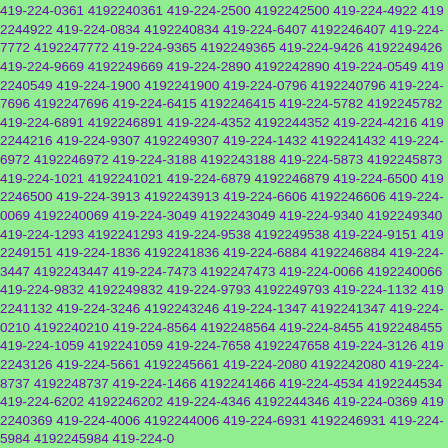419-224-0361 4192240361 419-224-2500 4192242500 419-224-4922 4192244922 419-224-0834 4192240834 419-224-6407 4192246407 419-224-7772 4192247772 419-224-9365 4192249365 419-224-9426 4192249426 419-224-9669 4192249669 419-224-2890 4192242890 419-224-0549 4192240549 419-224-1900 4192241900 419-224-0796 4192240796 419-224-7696 4192247696 419-224-6415 4192246415 419-224-5782 4192245782 419-224-6891 4192246891 419-224-4352 4192244352 419-224-4216 4192244216 419-224-9307 4192249307 419-224-1432 4192241432 419-224-6972 4192246972 419-224-3188 4192243188 419-224-5873 4192245873 419-224-1021 4192241021 419-224-6879 4192246879 419-224-6500 4192246500 419-224-3913 4192243913 419-224-6606 4192246606 419-224-0069 4192240069 419-224-3049 4192243049 419-224-9340 4192249340 419-224-1293 4192241293 419-224-9538 4192249538 419-224-9151 4192249151 419-224-1836 4192241836 419-224-6884 4192246884 419-224-3447 4192243447 419-224-7473 4192247473 419-224-0066 4192240066 419-224-9832 4192249832 419-224-9793 4192249793 419-224-1132 4192241132 419-224-3246 4192243246 419-224-1347 4192241347 419-224-0210 4192240210 419-224-8564 4192248564 419-224-8455 4192248455 419-224-1059 4192241059 419-224-7658 4192247658 419-224-3126 4192243126 419-224-5661 4192245661 419-224-2080 4192242080 419-224-8737 4192248737 419-224-1466 4192241466 419-224-4534 4192244534 419-224-6202 4192246202 419-224-4346 4192244346 419-224-0369 4192240369 419-224-4006 4192244006 419-224-6931 4192246931 419-224-5984 4192245984 419-224-0